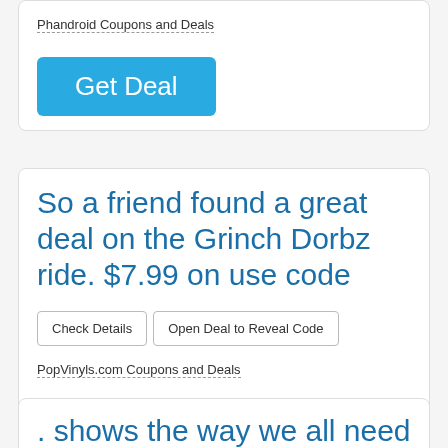Phandroid Coupons and Deals
[Figure (other): Blue 'Get Deal' button]
So a friend found a great deal on the Grinch Dorbz ride. $7.99 on use code
[Figure (other): Check Details button and Open Deal to Reveal Code button]
PopVinyls.com Coupons and Deals
[Figure (other): Red 'Get Code' button]
. shows the way we all need to